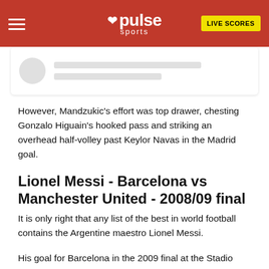pulse sports | LIVE SCORES
[Figure (screenshot): Partial card/article stub showing a grey avatar circle and two grey placeholder lines on white background with shadow]
However, Mandzukic's effort was top drawer, chesting Gonzalo Higuain's hooked pass and striking an overhead half-volley past Keylor Navas in the Madrid goal.
Lionel Messi - Barcelona vs Manchester United - 2008/09 final
It is only right that any list of the best in world football contains the Argentine maestro Lionel Messi.
His goal for Barcelona in the 2009 final at the Stadio Olimpico in Rome sealed the title for the Blaugrana after Samuel Eto'o opened the scoring in the 10th minute.